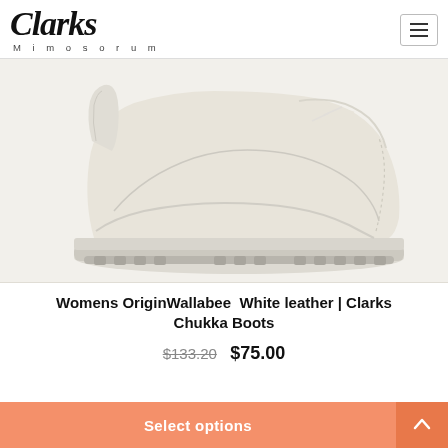Clarks Mimosorum
[Figure (photo): Womens OriginWallabee white leather chukka boot on light grey/cream background, side profile view showing moc-toe stitching, chunky sole and cream laces]
Womens OriginWallabee  White leather | Clarks Chukka Boots
$133.20  $75.00
Select options